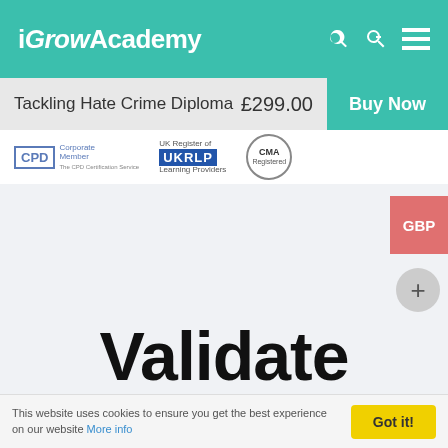iGrowAcademy
Tackling Hate Crime Diploma  £299.00  Buy Now
[Figure (logo): CPD Corporate Member logo, UKRLP UK Register of Learning Providers logo, CMA Registered seal]
Validate Qualification
This website uses cookies to ensure you get the best experience on our website More info  Got it!